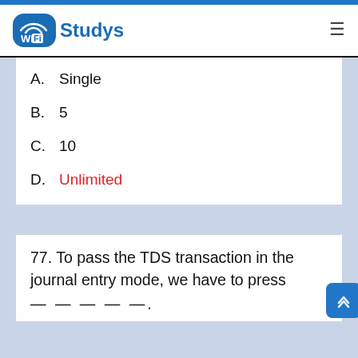Wi Fi Studys
A. Single
B. 5
C. 10
D. Unlimited
77. To pass the TDS transaction in the journal entry mode, we have to press ————.